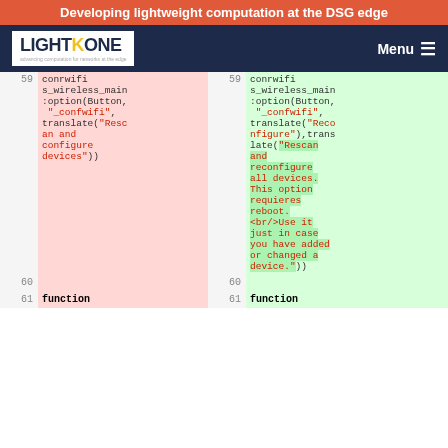Developing lightweight computation at the DSG edge
[Figure (screenshot): LightKone logo with navigation menu bar on dark navy background]
| line# | removed code | line# | added code |
| --- | --- | --- | --- |
| 59 | conrwifi s_wireless_main :option(Button, "_confwifi", translate("Rescan and configure devices")) | 59 | conrwifi s_wireless_main :option(Button, "_confwifi", translate("Reconfigure"),translate("Rescan and reconfigure all devices. This option requieres reboot. <br/>Use it just in case you have added or changed a device.")) |
| 60 |  | 60 |  |
| 61 | function | 61 | function |